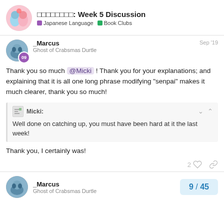□□□□□□□□: Week 5 Discussion | Japanese Language | Book Clubs
_Marcus
Ghost of Crabsmas Durtle
Sep '19
Thank you so much @Micki ! Thank you for your explanations; and explaining that it is all one long phrase modifying “senpai” makes it much clearer, thank you so much!
Micki:
Well done on catching up, you must have been hard at it the last week!
Thank you, I certainly was!
2
_Marcus
Ghost of Crabsmas Durtle
9 / 45